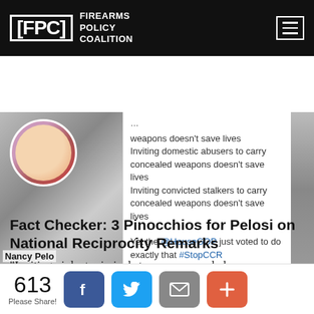FPC FIREARMS POLICY COALITION
[Figure (screenshot): Screenshot of a tweet by Nancy Pelosi showing text about inviting domestic abusers and convicted stalkers to carry concealed weapons, with a reference to @HouseGOP voting for it and hashtag #StopCCR, dated 3:04 PM - 6 Dec 2017.]
Fact Checker: 3 Pinocchios for Pelosi on National Reciprocity Remarks
“Inviting violent criminals to carry concealed weapons doesn’t save lives,” said Pelosi. “Inviting domestic abusers to carry concealed weapons doesn’t save lives. Inviting convicted stalkers to carry concealed
613 Please Share!